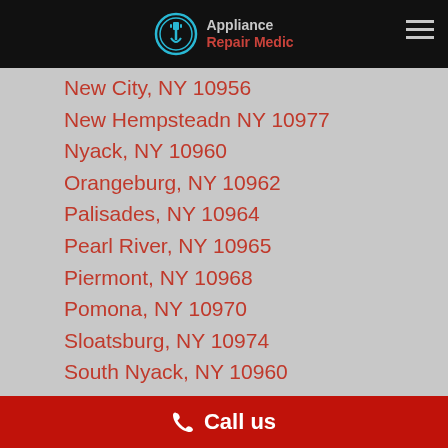Appliance Repair Medic
New City, NY 10956
New Hempsteadn NY 10977
Nyack, NY 10960
Orangeburg, NY 10962
Palisades, NY 10964
Pearl River, NY 10965
Piermont, NY 10968
Pomona, NY 10970
Sloatsburg, NY 10974
South Nyack, NY 10960
Spring Valley, NY 10977
Stony Point, NY 10980
Suffern, NY 10901
Tallman, NY 10982
Tappan, NY 10983
Thiells, NY 10984
Tomkins Cove, NY 10986
Call us